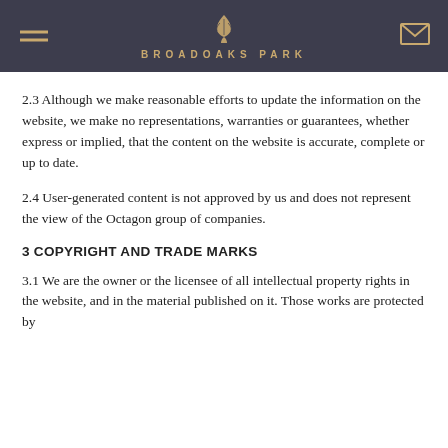BROADOAKS PARK
2.3 Although we make reasonable efforts to update the information on the website, we make no representations, warranties or guarantees, whether express or implied, that the content on the website is accurate, complete or up to date.
2.4 User-generated content is not approved by us and does not represent the view of the Octagon group of companies.
3 COPYRIGHT AND TRADE MARKS
3.1 We are the owner or the licensee of all intellectual property rights in the website, and in the material published on it. Those works are protected by